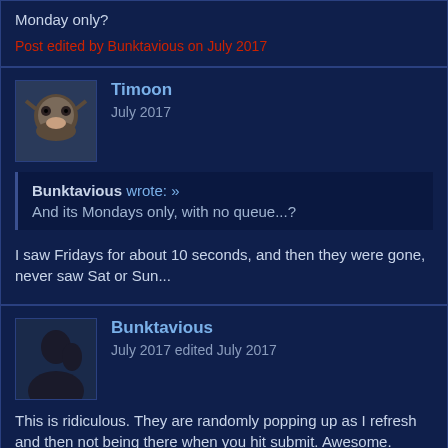Monday only?
Post edited by Bunktavious on July 2017
Timoon
July 2017
Bunktavious wrote: » And its Mondays only, with no queue...?
I saw Fridays for about 10 seconds, and then they were gone, never saw Sat or Sun...
Bunktavious
July 2017 edited July 2017
This is ridiculous. They are randomly popping up as I refresh and then not being there when you hit submit. Awesome.